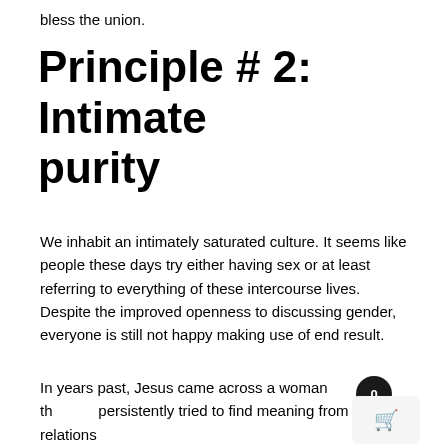bless the union.
Principle # 2: Intimate purity
We inhabit an intimately saturated culture. It seems like people these days try either having sex or at least referring to everything of these intercourse lives. Despite the improved openness to discussing gender, everyone is still not happy making use of end result.
In years past, Jesus came across a woman th persistently tried to find meaning from this lady relations